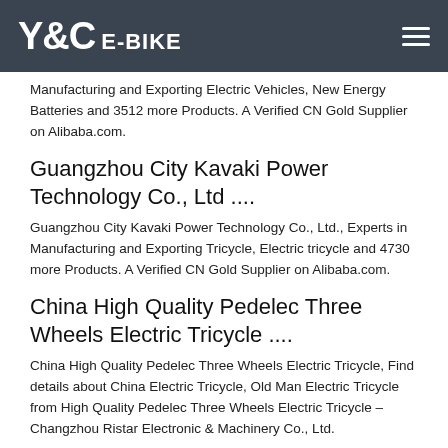Y&C E-BIKE
Manufacturing and Exporting Electric Vehicles, New Energy Batteries and 3512 more Products. A Verified CN Gold Supplier on Alibaba.com.
Guangzhou City Kavaki Power Technology Co., Ltd ....
Guangzhou City Kavaki Power Technology Co., Ltd., Experts in Manufacturing and Exporting Tricycle, Electric tricycle and 4730 more Products. A Verified CN Gold Supplier on Alibaba.com.
China High Quality Pedelec Three Wheels Electric Tricycle ....
China High Quality Pedelec Three Wheels Electric Tricycle, Find details about China Electric Tricycle, Old Man Electric Tricycle from High Quality Pedelec Three Wheels Electric Tricycle – Changzhou Ristar Electronic & Machinery Co., Ltd.